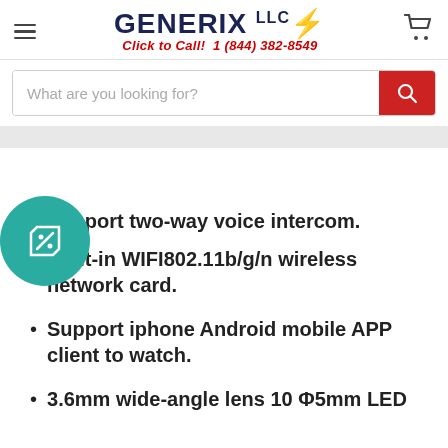GENERIX LLC - Click to Call! 1 (844) 382-8549
What are you looking for?
Support two-way voice intercom.
Built-in WIFI802.11b/g/n wireless network card.
Support iphone Android mobile APP client to watch.
3.6mm wide-angle lens 10 Φ5mm LED